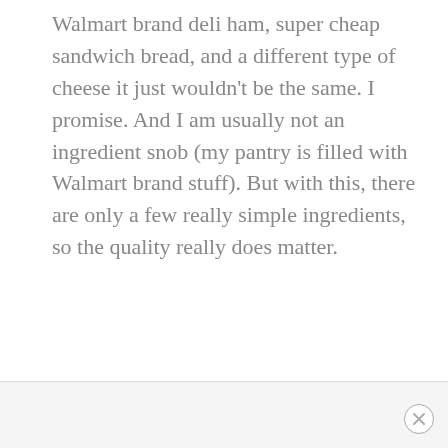Walmart brand deli ham, super cheap sandwich bread, and a different type of cheese it just wouldn't be the same. I promise. And I am usually not an ingredient snob (my pantry is filled with Walmart brand stuff). But with this, there are only a few really simple ingredients, so the quality really does matter.